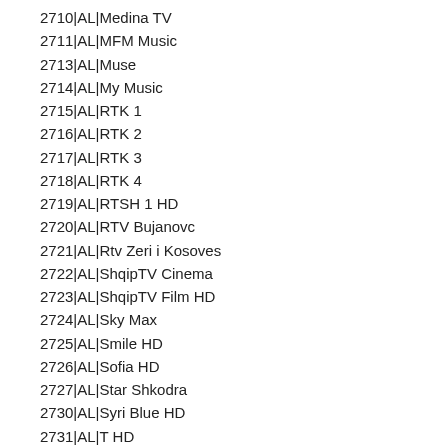2710|AL|Medina TV
2711|AL|MFM Music
2713|AL|Muse
2714|AL|My Music
2715|AL|RTK 1
2716|AL|RTK 2
2717|AL|RTK 3
2718|AL|RTK 4
2719|AL|RTSH 1 HD
2720|AL|RTV Bujanovc
2721|AL|Rtv Zeri i Kosoves
2722|AL|ShqipTV Cinema
2723|AL|ShqipTV Film HD
2724|AL|Sky Max
2725|AL|Smile HD
2726|AL|Sofia HD
2727|AL|Star Shkodra
2730|AL|Syri Blue HD
2731|AL|T HD
2732|AL|Tema TV
2733|AL|Top Estrada TV HD